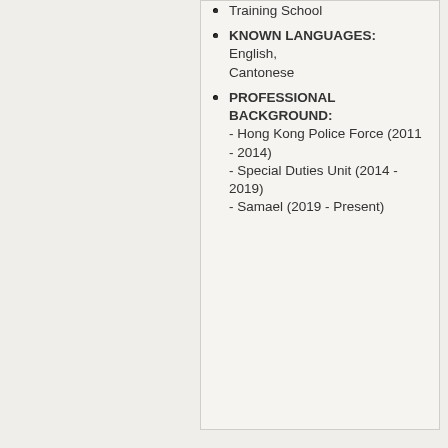Training School
KNOWN LANGUAGES: English, Cantonese
PROFESSIONAL BACKGROUND: - Hong Kong Police Force (2011 - 2014) - Special Duties Unit (2014 - 2019) - Samael (2019 - Present)